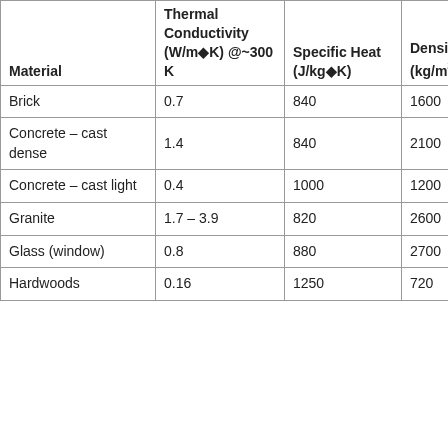| Material | Thermal Conductivity (W/m·K) @~300 K | Specific Heat (J/kg·K) | Density (kg/m³) |
| --- | --- | --- | --- |
| Brick | 0.7 | 840 | 1600 |
| Concrete – cast dense | 1.4 | 840 | 2100 |
| Concrete – cast light | 0.4 | 1000 | 1200 |
| Granite | 1.7 – 3.9 | 820 | 2600 |
| Glass (window) | 0.8 | 880 | 2700 |
| Hardwoods | 0.16 | 1250 | 720 |